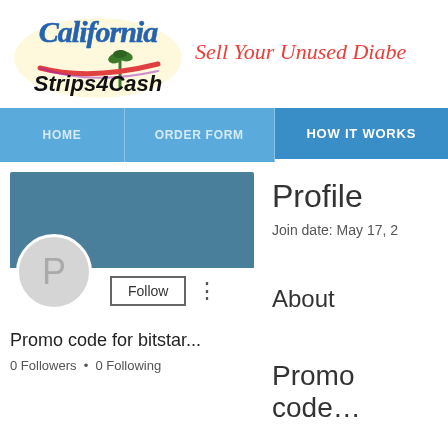[Figure (logo): California Strips4Cash logo with palm trees and colorful text]
Sell Your Unused Diabe…
HOME | ORDER FORM | HOW IT WORKS
[Figure (screenshot): User profile card with avatar showing P, Follow button, and three-dot menu on teal banner]
Promo code for bitstar...
0 Followers • 0 Following
Profile
Join date: May 17, 2…
About
Promo code…